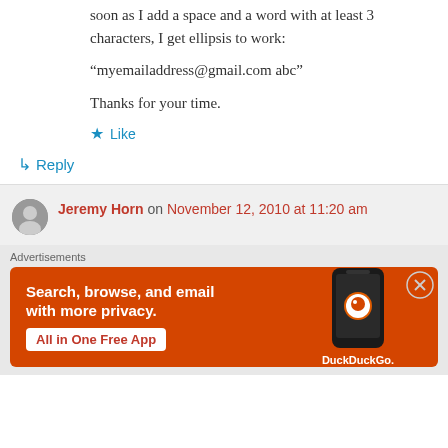soon as I add a space and a word with at least 3 characters, I get ellipsis to work:
“myemailaddress@gmail.com abc”
Thanks for your time.
★ Like
↳ Reply
Jeremy Horn on November 12, 2010 at 11:20 am
Advertisements
[Figure (infographic): DuckDuckGo advertisement banner in orange: 'Search, browse, and email with more privacy. All in One Free App' with phone image and DuckDuckGo logo]